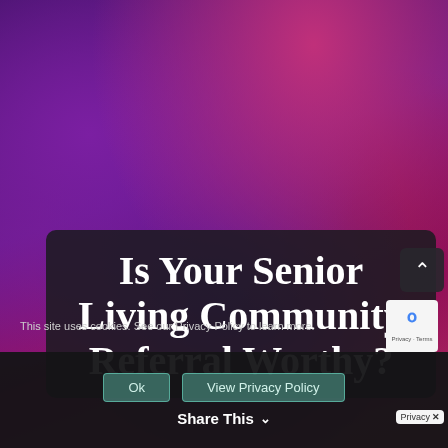[Figure (illustration): Abstract blurred purple, magenta, and dark background serving as a hero image background with radial color gradients]
Is Your Senior Living Community Referral Worthy?
This site uses cookies. See our Privacy Policy to learn more.
Ok   View Privacy Policy
Share This